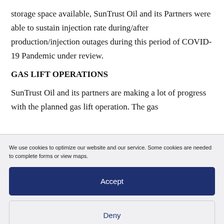storage space available, SunTrust Oil and its Partners were able to sustain injection rate during/after production/injection outages during this period of COVID-19 Pandemic under review.
GAS LIFT OPERATIONS
SunTrust Oil and its partners are making a lot of progress with the planned gas lift operation. The gas
We use cookies to optimize our website and our service. Some cookies are needed to complete forms or view maps.
Accept
Deny